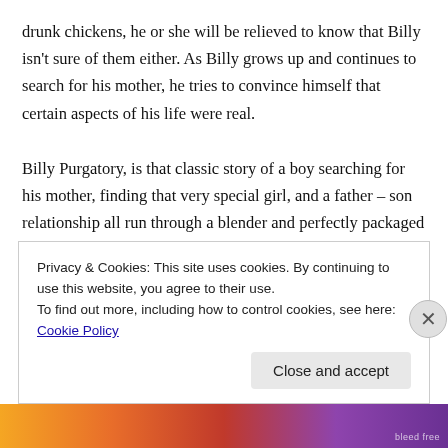drunk chickens, he or she will be relieved to know that Billy isn't sure of them either. As Billy grows up and continues to search for his mother, he tries to convince himself that certain aspects of his life were real.
Billy Purgatory, is that classic story of a boy searching for his mother, finding that very special girl, and a father – son relationship all run through a blender and perfectly packaged into a great story that is a complete riot.
Privacy & Cookies: This site uses cookies. By continuing to use this website, you agree to their use.
To find out more, including how to control cookies, see here: Cookie Policy
Close and accept